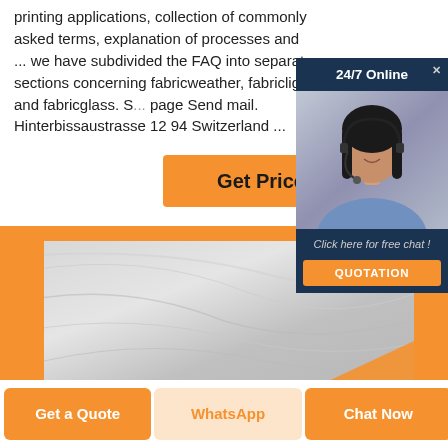printing applications, collection of commonly asked terms, explanation of processes and ... we have subdivided the FAQ into separate sections concerning fabricweather, fabriclight and fabricglass. S... page Send mail. Hinterbissaustrasse 12 94 Switzerland ...
[Figure (screenshot): Orange 'Get Price' button]
[Figure (screenshot): 24/7 Online chat widget with a woman wearing a headset, 'Click here for free chat!' text, and an orange QUOTATION button on dark navy background]
[Figure (photo): Orange section with a gray fabric/glass material image inside]
[Figure (screenshot): Bottom navigation bar with three buttons: 'Get a Quote' (orange), 'WhatsApp' (light orange/peach), 'Chat Now' (orange)]